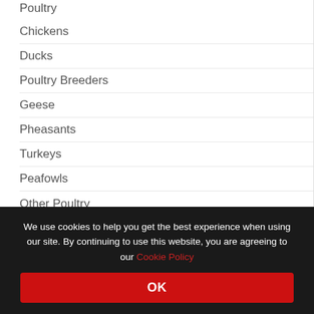Poultry
Chickens
Ducks
Poultry Breeders
Geese
Pheasants
Turkeys
Peafowls
Other Poultry
Guineafowls
Waterfowls
We use cookies to help you get the best experience when using our site. By continuing to use this website, you are agreeing to our Cookie Policy
OK